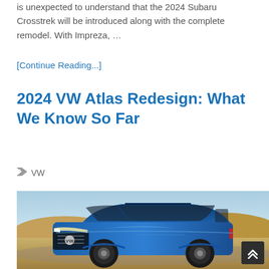is unexpected to understand that the 2024 Subaru Crosstrek will be introduced along with the complete remodel. With Impreza, …
[Continue Reading...]
2024 VW Atlas Redesign: What We Know So Far
🏷 VW
[Figure (photo): Blue 2024 VW Atlas SUV photographed from a front three-quarter angle in a desert landscape setting.]